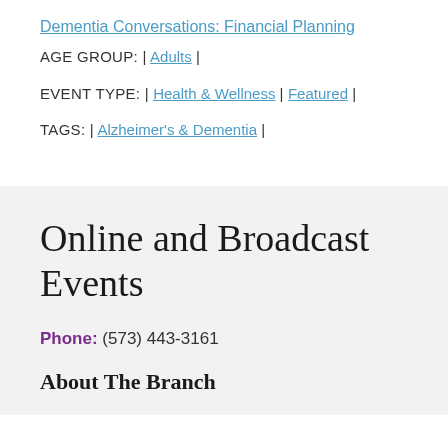Dementia Conversations: Financial Planning
AGE GROUP: | Adults |
EVENT TYPE: | Health & Wellness | Featured |
TAGS: | Alzheimer's & Dementia |
Online and Broadcast Events
Phone: (573) 443-3161
About The Branch